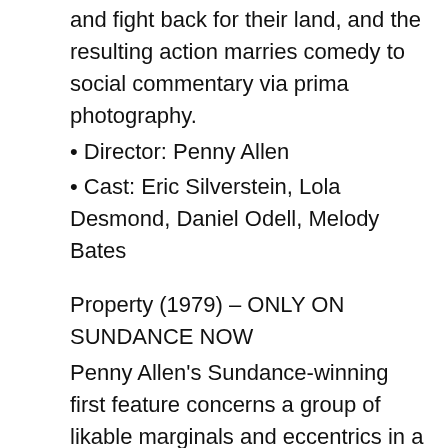and fight back for their land, and the resulting action marries comedy to social commentary via prima photography.
• Director: Penny Allen
• Cast: Eric Silverstein, Lola Desmond, Daniel Odell, Melody Bates
Property (1979) – ONLY ON SUNDANCE NOW
Penny Allen's Sundance-winning first feature concerns a group of likable marginals and eccentrics in a quixotic quest to buy up their block from developers, only to then wrestle with the financial complexities that come of the…